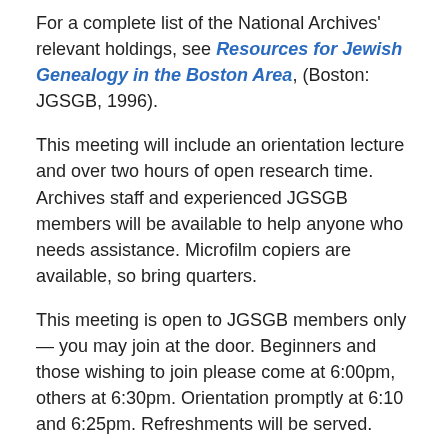For a complete list of the National Archives' relevant holdings, see Resources for Jewish Genealogy in the Boston Area, (Boston: JGSGB, 1996).
This meeting will include an orientation lecture and over two hours of open research time. Archives staff and experienced JGSGB members will be available to help anyone who needs assistance. Microfilm copiers are available, so bring quarters.
This meeting is open to JGSGB members only — you may join at the door. Beginners and those wishing to join please come at 6:00pm, others at 6:30pm. Orientation promptly at 6:10 and 6:25pm. Refreshments will be served.
Directions: